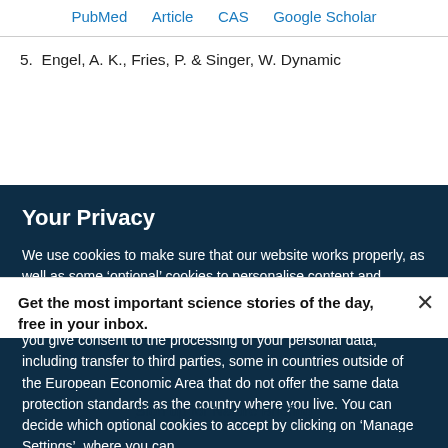PubMed   Article   CAS   Google Scholar
5.  Engel, A. K., Fries, P. & Singer, W. Dynamic
Your Privacy
We use cookies to make sure that our website works properly, as well as some ‘optional’ cookies to personalise content and advertising, provide social media features and analyse how people use our site. By accepting some or all optional cookies you give consent to the processing of your personal data, including transfer to third parties, some in countries outside of the European Economic Area that do not offer the same data protection standards as the country where you live. You can decide which optional cookies to accept by clicking on ‘Manage Settings’, where you can
Get the most important science stories of the day, free in your inbox.
Sign up for Nature Briefing